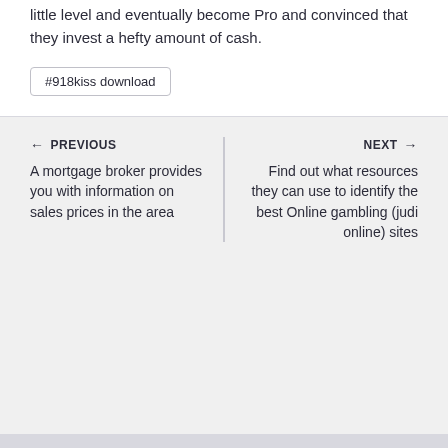Debut of internet casino games they play with a little level and eventually become Pro and convinced that they invest a hefty amount of cash.
#918kiss download
← PREVIOUS
A mortgage broker provides you with information on sales prices in the area
NEXT →
Find out what resources they can use to identify the best Online gambling (judi online) sites